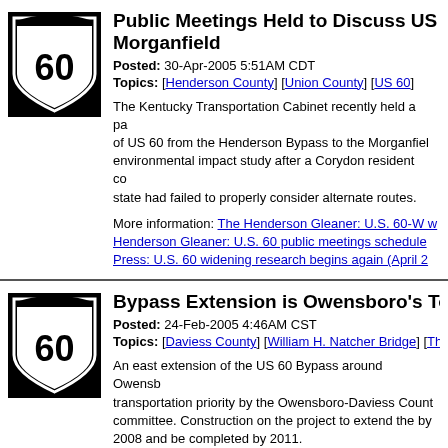[Figure (logo): US Route 60 highway shield sign]
Public Meetings Held to Discuss US 60 Morganfield
Posted: 30-Apr-2005 5:51AM CDT
Topics: [Henderson County] [Union County] [US 60]
The Kentucky Transportation Cabinet recently held a pair of US 60 from the Henderson Bypass to the Morganfield environmental impact study after a Corydon resident com state had failed to properly consider alternate routes.
More information: The Henderson Gleaner: U.S. 60-W w Henderson Gleaner: U.S. 60 public meetings scheduled Press: U.S. 60 widening research begins again (April 27
[Figure (logo): US Route 60 highway shield sign]
Bypass Extension is Owensboro’s Top
Posted: 24-Feb-2005 4:46AM CST
Topics: [Daviess County] [William H. Natcher Bridge] [Th
An east extension of the US 60 Bypass around Owensbo transportation priority by the Owensboro-Daviess County committee. Construction on the project to extend the byp 2008 and be completed by 2011.
The committee also rejected the idea of widening Frede
More information: Owensboro Messenger-Inquirer: Pane